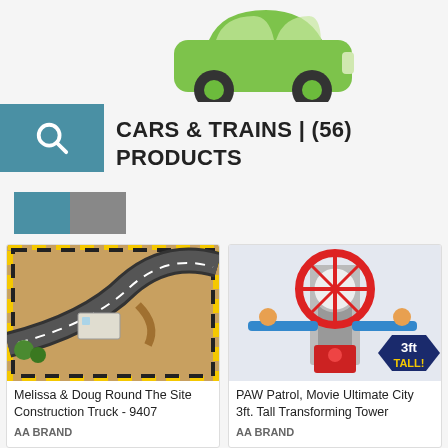[Figure (illustration): Green car logo/icon at the top of the page, partially visible]
[Figure (illustration): Blue search icon box in the upper left]
CARS & TRAINS | (56) PRODUCTS
[Figure (other): View toggle buttons: teal/active and gray/inactive grid view buttons]
[Figure (photo): Melissa & Doug Round The Site Construction Truck product image - aerial view of a construction site play mat]
Melissa & Doug Round The Site Construction Truck - 9407
AA BRAND
[Figure (photo): PAW Patrol Movie Ultimate City 3ft. Tall Transforming Tower product image - tall toy tower with badge '3ft TALL!']
PAW Patrol, Movie Ultimate City 3ft. Tall Transforming Tower
AA BRAND